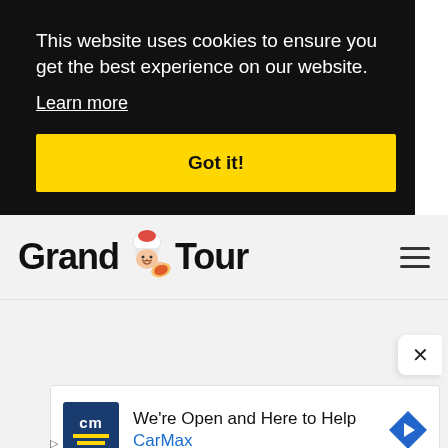This website uses cookies to ensure you get the best experience on our website.
Learn more
Got it!
[Figure (logo): Grand Tour website logo with chef mascot illustration between 'Grand' and 'Tour' text]
[Figure (illustration): Hamburger menu icon with three horizontal lines]
[Figure (screenshot): CarMax advertisement banner: 'We're Open and Here to Help' with CarMax branding and navigation arrow icon]